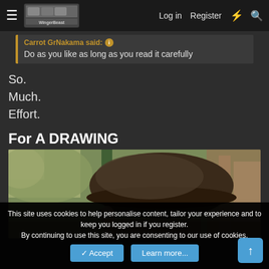Log in   Register   ⚡   🔍
Carrot GrNakama said:
Do as you like as long as you read it carefully
So.
Much.
Effort.
For A DRAWING
[Figure (photo): Close-up photo of the back of a person's head wearing a dark flat cap/hat, outdoors with blurred greenery and wooden structure in background]
This site uses cookies to help personalise content, tailor your experience and to keep you logged in if you register.
By continuing to use this site, you are consenting to our use of cookies.